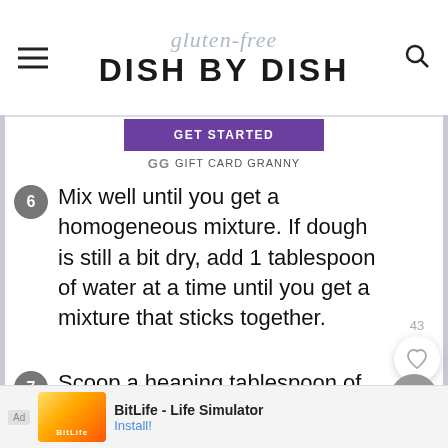gluten-free DISH BY DISH
[Figure (other): GET STARTED button advertisement for Gift Card Granny]
6 Mix well until you get a homogeneous mixture. If dough is still a bit dry, add 1 tablespoon of water at a time until you get a mixture that sticks together.
7 Scoop a heaping tablespoon of cookie dough and roll into a ball with both palm of your hands. Flatten each ball of cookie dough
[Figure (screenshot): Bottom advertisement: BitLife - Life Simulator app ad with Install button]